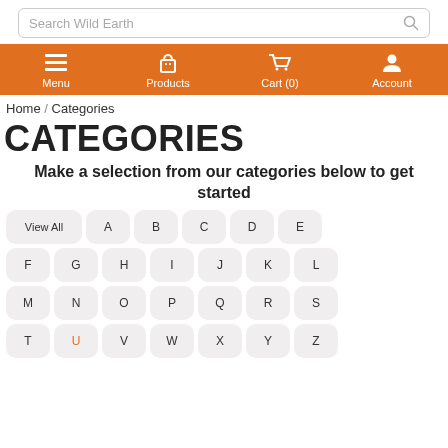Search Wild Earth
Menu | Products | Cart (0) | Account
Home / Categories
CATEGORIES
Make a selection from our categories below to get started
View All A B C D E F G H I J K L M N O P Q R S T U V W X Y Z